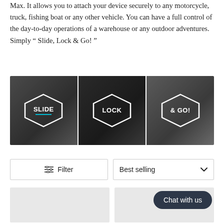Max. It allows you to attach your device securely to any motorcycle, truck, fishing boat or any other vehicle. You can have a full control of the day-to-day operations of a warehouse or any outdoor adventures. Simply " Slide, Lock & Go! "
[Figure (illustration): Three-panel image banner showing the 'Slide, Lock & Go!' concept. Left panel shows 'SLIDE' in a white hexagon outline over a dark photo of hands on bike handlebars with a teal underline. Middle panel shows 'LOCK' in a white hexagon over a dark photo of a phone mounted on bike handlebars. Right panel shows '& GO!' in a white hexagon over a photo of a cyclist riding.]
Filter
Best selling
[Figure (screenshot): Two gray product card placeholders side by side at the bottom of the page.]
Chat with us